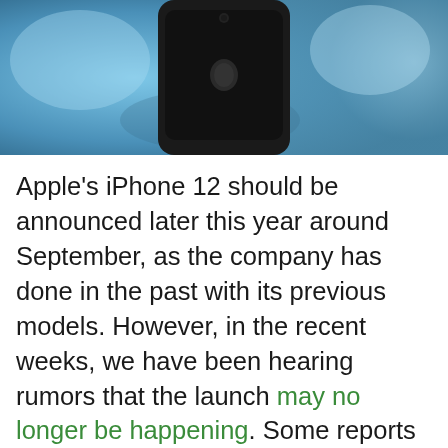[Figure (photo): Photo of a dark-colored smartphone (iPhone) seen from behind, set against a blurred blue background.]
Apple's iPhone 12 should be announced later this year around September, as the company has done in the past with its previous models. However, in the recent weeks, we have been hearing rumors that the launch may no longer be happening. Some reports are even claiming that it could only be in 2021 that the device is launched.